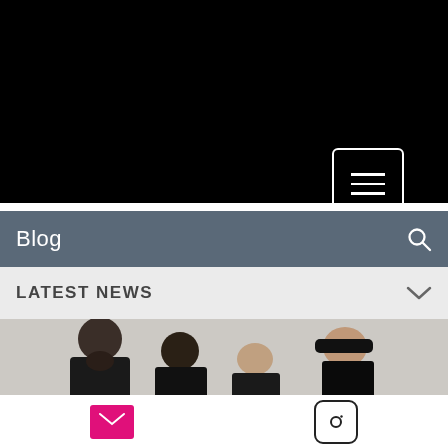[Figure (photo): Black hero/video area at the top of the page with a hamburger menu icon in a white bordered box in the lower right]
Blog
LATEST NEWS
[Figure (photo): Band photo showing four men with a light background, partially cropped]
[Figure (infographic): Footer with email (pink envelope) icon and Instagram icon]